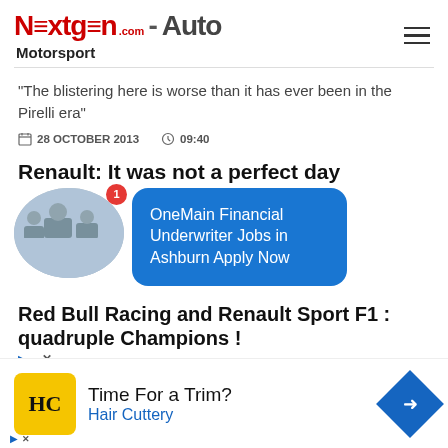[Figure (logo): NextGen-Auto.com Motorsport logo with red and dark text]
"The blistering here is worse than it has ever been in the Pirelli era"
28 OCTOBER 2013   09:40
Renault: It was not a perfect day
[Figure (photo): Circular thumbnail of people in a business meeting shaking hands]
[Figure (infographic): Blue rounded popup card with text: OneMain Financial Underwriter Jobs in Ashburn Apply Now]
Red Bull Racing and Renault Sport F1 : quadruple Champions !
re proud of this joint history"
[Figure (infographic): Advertisement: HC logo (Hair Cuttery) yellow square, text: Time For a Trim? Hair Cuttery, blue diamond arrow icon]